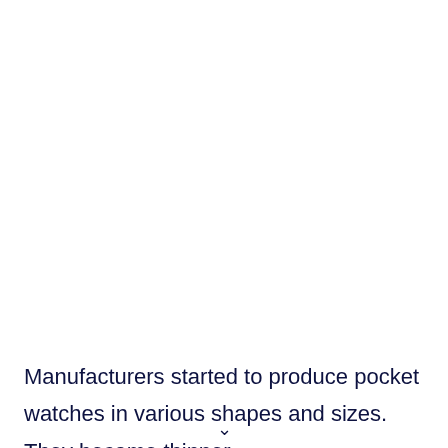18th Century Clocks Become Widespread
Manufacturers started to produce pocket watches in various shapes and sizes. They became thinner,